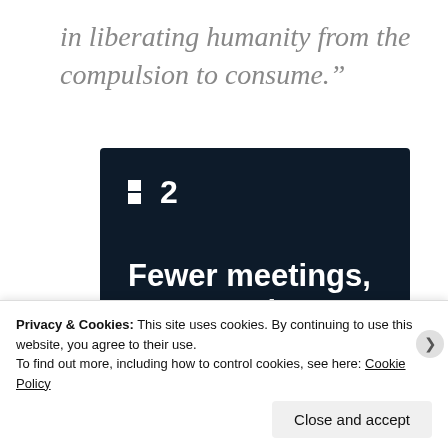in liberating humanity from the compulsion to consume.”
[Figure (screenshot): Dark navy advertisement for Basecamp/HEY product showing logo mark '2' with tagline 'Fewer meetings, more work.' and a 'Get started for free' button on dark background.]
Privacy & Cookies: This site uses cookies. By continuing to use this website, you agree to their use.
To find out more, including how to control cookies, see here: Cookie Policy
Close and accept